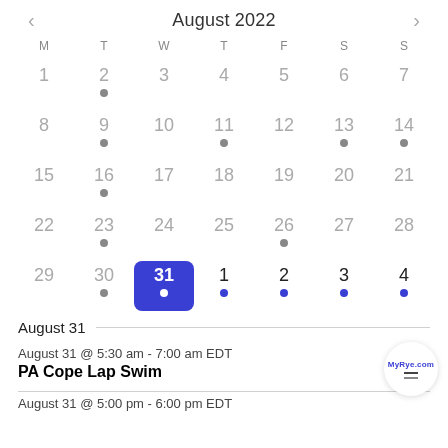August 2022
[Figure (other): Monthly calendar for August 2022 showing dates 1-31 plus Sept 1-4, with gray dots on some dates (2, 9, 11, 13, 14, 16, 23, 26, 30) indicating events, and blue dots on Aug 31, Sept 1, 2, 3, 4. August 31 is highlighted with a blue square background as the selected date.]
August 31
August 31 @ 5:30 am - 7:00 am EDT
PA Cope Lap Swim
August 31 @ 5:00 pm - 6:00 pm EDT